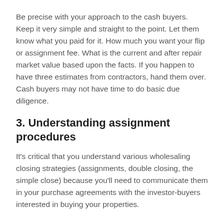Be precise with your approach to the cash buyers. Keep it very simple and straight to the point. Let them know what you paid for it. How much you want your flip or assignment fee. What is the current and after repair market value based upon the facts. If you happen to have three estimates from contractors, hand them over. Cash buyers may not have time to do basic due diligence.
3. Understanding assignment procedures
It's critical that you understand various wholesaling closing strategies (assignments, double closing, the simple close) because you'll need to communicate them in your purchase agreements with the investor-buyers interested in buying your properties.